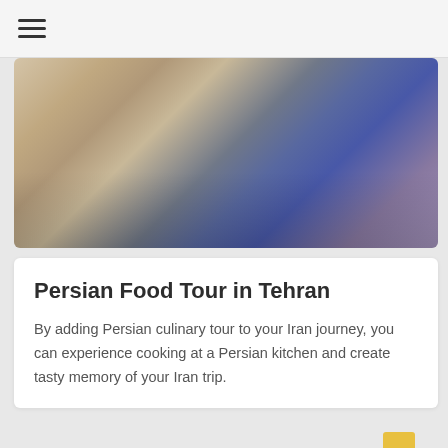≡
[Figure (photo): Close-up photo of a person wearing a blue patterned headscarf, handling food items, blurred background]
Persian Food Tour in Tehran
By adding Persian culinary tour to your Iran journey, you can experience cooking at a Persian kitchen and create tasty memory of your Iran trip.
Samane Tajalli
[Figure (photo): Group photo of smiling people in a social/cooking setting with a yellow background element; WhatsApp chat widget visible with 'Need Help? Chat with us']